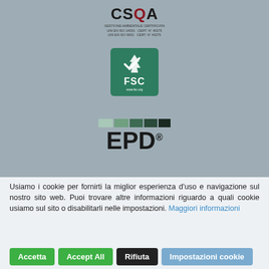[Figure (logo): CSQA certification logo with text GESTIONE AMBIENTALE CERTIFICATA, UNI EN ISO 14001 CERT N° 40275, UNI EN ISO 9001 CERT N° 40275]
[Figure (logo): FSC Forest Stewardship Council logo — green square with tree and checkmark, www.fsc.org]
[Figure (logo): EPD Environmental Product Declaration logo with colored bar strip and EPD® text]
Usiamo i cookie per fornirti la miglior esperienza d'uso e navigazione sul nostro sito web. Puoi trovare altre informazioni riguardo a quali cookie usiamo sul sito o disabilitarli nelle impostazioni. Maggiori informazioni
Accetta
Accept All
Rifiuta
Impostazioni cookie